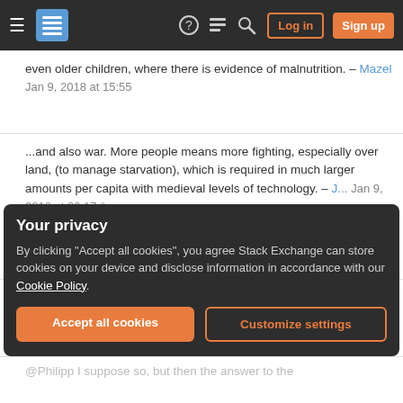Stack Exchange navigation bar with hamburger menu, logo, help, chat, search icons, Log in and Sign up buttons
even older children, where there is evidence of malnutrition. – Mazel Jan 9, 2018 at 15:55
...and also war. More people means more fighting, especially over land, (to manage starvation), which is required in much larger amounts per capita with medieval levels of technology. – J... Jan 9, 2018 at 20:17
2  It was necessary for a couple to have as many children as possible because the amount of food one person can grow, beyond simple sustainability, increases dramatically with every extra hand available. Agriculture; +1. – Mazura Jan 9, 2018 at 23:50
Your privacy
By clicking "Accept all cookies", you agree Stack Exchange can store cookies on your device and disclose information in accordance with our Cookie Policy.
Accept all cookies  Customize settings
@Philipp I suppose so, but then the answer to the